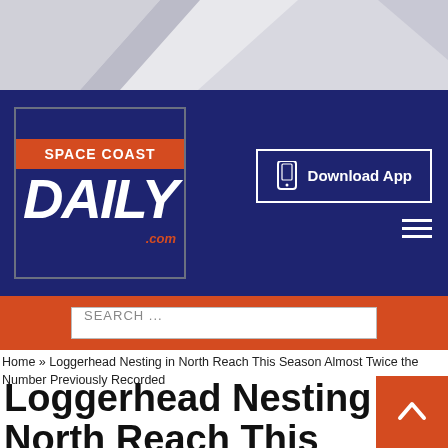[Figure (logo): Space Coast Daily .com newspaper logo — red banner reading SPACE COAST on top, large white italic DAILY text in navy, .com in orange at bottom right, inside navy/dark-bordered box]
Download App
SEARCH ...
Home » Loggerhead Nesting in North Reach This Season Almost Twice the Number Previously Recorded
Loggerhead Nesting in North Reach This Season Almost Twice the Number Previously Recorded